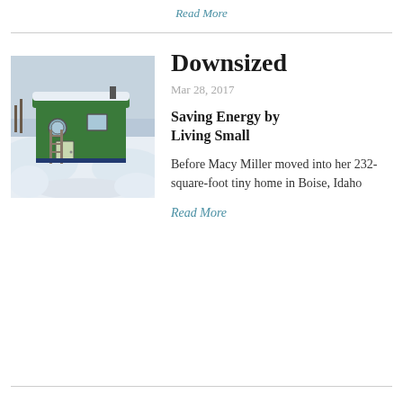Read More
[Figure (photo): A small green and blue tiny house on wheels covered in snow, with a snowy landscape in the background. A ladder leans against its side.]
Downsized
Mar 28, 2017
Saving Energy by Living Small
Before Macy Miller moved into her 232-square-foot tiny home in Boise, Idaho
Read More